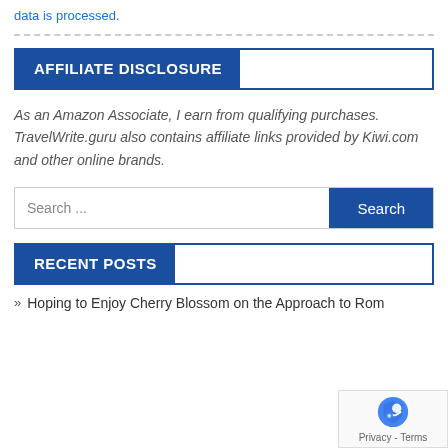data is processed.
AFFILIATE DISCLOSURE
As an Amazon Associate, I earn from qualifying purchases. TravelWrite.guru also contains affiliate links provided by Kiwi.com and other online brands.
Search ...
RECENT POSTS
Hoping to Enjoy Cherry Blossom on the Approach to Rom